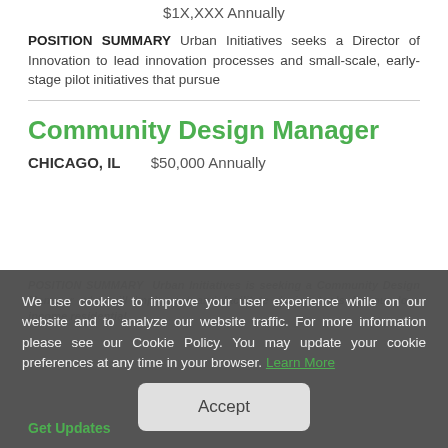$1X,XXX Annually
POSITION SUMMARY Urban Initiatives seeks a Director of Innovation to lead innovation processes and small-scale, early-stage pilot initiatives that pursue
Community Design Manager
CHICAGO, IL   $50,000 Annually
POSITION SUMMARY Urban Initiatives is seeking a Community Design Manager who will implement and facilitate design tools for our low-income residential
We use cookies to improve your user experience while on our website and to analyze our website traffic. For more information please see our Cookie Policy. You may update your cookie preferences at any time in your browser. Learn More
Accept
Get Updates